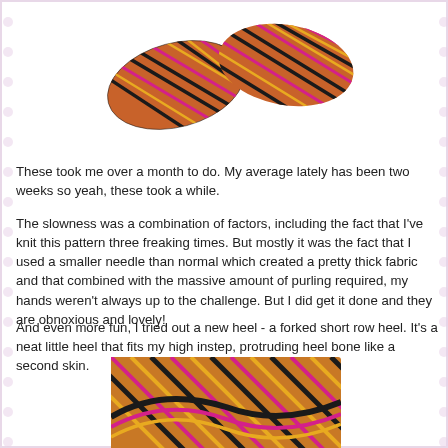[Figure (photo): Top-down view of colorful striped knitted socks/mittens with multicolor yarn in shades of red, orange, yellow, pink, and black, photographed against a white background.]
These took me over a month to do. My average lately has been two weeks so yeah, these took a while.
The slowness was a combination of factors, including the fact that I've knit this pattern three freaking times. But mostly it was the fact that I used a smaller needle than normal which created a pretty thick fabric and that combined with the massive amount of purling required, my hands weren't always up to the challenge. But I did get it done and they are obnoxious and lovely!
And even more fun, I tried out a new heel - a forked short row heel. It's a neat little heel that fits my high instep, protruding heel bone like a second skin.
[Figure (photo): Close-up photograph of knitted sock heel area showing colorful multicolor yarn in orange, black, pink and yellow stripes, displaying the forked short row heel construction.]